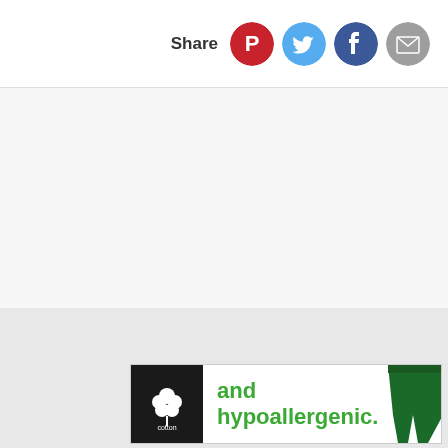Share [Pinterest] [Twitter] [Facebook] [Email]
[Figure (screenshot): White/light gray background content area, empty]
[Figure (screenshot): Gray background content area, empty]
[Figure (advertisement): Cotton logo advertisement banner with Cotton Inc logo on black background, green text 'and hypoallergenic.' and green athletic pants on the right]